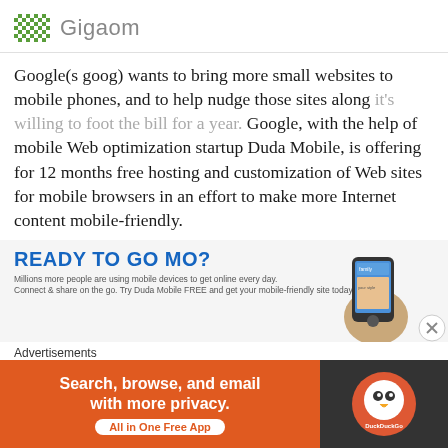Gigaom
Google(s goog) wants to bring more small websites to mobile phones, and to help nudge those sites along it's willing to foot the bill for a year. Google, with the help of mobile Web optimization startup Duda Mobile, is offering for 12 months free hosting and customization of Web sites for mobile browsers in an effort to make more Internet content mobile-friendly.
[Figure (photo): Advertisement banner: READY TO GO MO? with mobile phone image showing a family app]
Advertisements
[Figure (infographic): DuckDuckGo advertisement: Search, browse, and email with more privacy. All in One Free App]